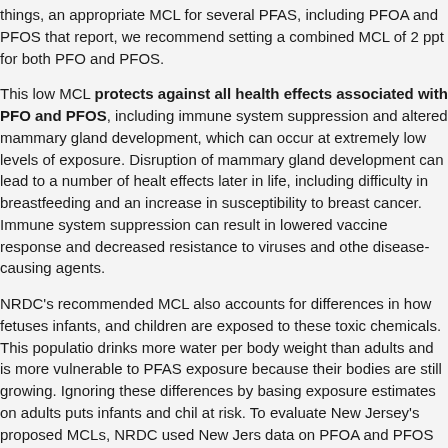things, an appropriate MCL for several PFAS, including PFOA and PFOS that report, we recommend setting a combined MCL of 2 ppt for both PFOA and PFOS.
This low MCL protects against all health effects associated with PFOA and PFOS, including immune system suppression and altered mammary gland development, which can occur at extremely low levels of exposure. Disruption of mammary gland development can lead to a number of health effects later in life, including difficulty in breastfeeding and an increase in susceptibility to breast cancer. Immune system suppression can result in lowered vaccine response and decreased resistance to viruses and other disease-causing agents.
NRDC's recommended MCL also accounts for differences in how fetuses, infants, and children are exposed to these toxic chemicals. This population drinks more water per body weight than adults and is more vulnerable to PFAS exposure because their bodies are still growing. Ignoring these differences by basing exposure estimates on adults puts infants and children at risk. To evaluate New Jersey's proposed MCLs, NRDC used New Jersey data on PFOA and PFOS in a model developed by Minnesota's Department